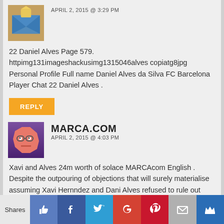APRIL 2, 2015 @ 3:29 PM
22 Daniel Alves Page 579. httpimg131imageshackusimg1315046alvescopiatg8jpg Personal Profile Full name Daniel Alves da Silva FC Barcelona Player Chat 22 Daniel Alves .
REPLY
MARCA.COM
APRIL 2, 2015 @ 4:03 PM
Xavi and Alves 24m worth of solace MARCAcom English . Despite the outpouring of objections that will surely materialise assuming Xavi Hernndez and Dani Alves refused to rule out their exits Xavi Barcelona.
Shares | Like | Facebook | Twitter | Google+ | Pinterest | Mail | Crown